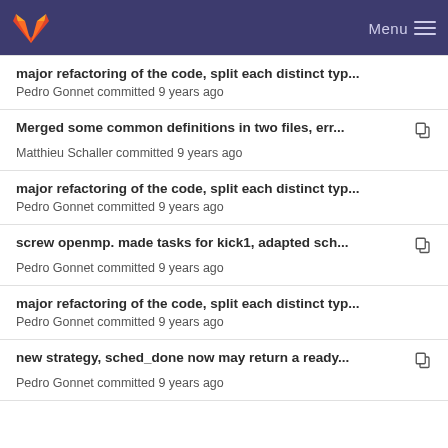GitLab navigation bar with Menu
major refactoring of the code, split each distinct typ...
Pedro Gonnet committed 9 years ago
Merged some common definitions in two files, err...
Matthieu Schaller committed 9 years ago
major refactoring of the code, split each distinct typ...
Pedro Gonnet committed 9 years ago
screw openmp. made tasks for kick1, adapted sch...
Pedro Gonnet committed 9 years ago
major refactoring of the code, split each distinct typ...
Pedro Gonnet committed 9 years ago
new strategy, sched_done now may return a ready...
Pedro Gonnet committed 9 years ago